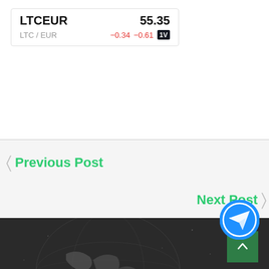| LTCEUR | 55.35 |
| LTC / EUR | −0.34  −0.61 |
Previous Post
Next Post
[Figure (logo): Telegram share button — blue circle with white paper plane icon]
[Figure (illustration): Dark footer with globe/earth background illustration]
[Figure (other): Scroll-to-top green square button with upward arrow]
[Figure (other): Green circle chat button]